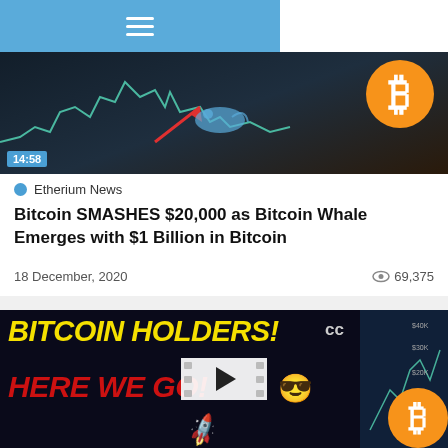≡
[Figure (screenshot): Video thumbnail showing a Bitcoin price chart with a red arrow pointing up, a blue whale graphic, and an orange Bitcoin coin logo. Duration badge shows 14:58.]
Etherium News
Bitcoin SMASHES $20,000 as Bitcoin Whale Emerges with $1 Billion in Bitcoin
18 December, 2020    👁 69,375
[Figure (screenshot): Video thumbnail with text 'BITCOIN HOLDERS!' in yellow and 'HERE WE GO!' in red on a dark background, with an emoji, CC badge, a chart, and Bitcoin logo. A film strip play button overlay is visible.]